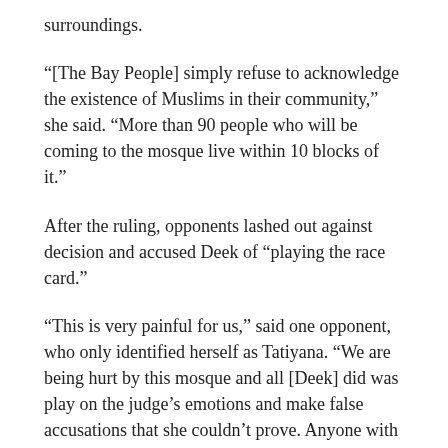surroundings.
“[The Bay People] simply refuse to acknowledge the existence of Muslims in their community,” she said. “More than 90 people who will be coming to the mosque live within 10 blocks of it.”
After the ruling, opponents lashed out against decision and accused Deek of “playing the race card.”
“This is very painful for us,” said one opponent, who only identified herself as Tatiyana. “We are being hurt by this mosque and all [Deek] did was play on the judge’s emotions and make false accusations that she couldn’t prove. Anyone with common sense would see that this mosque is going to affect the welfare of people living on Voorhies Avenue.”